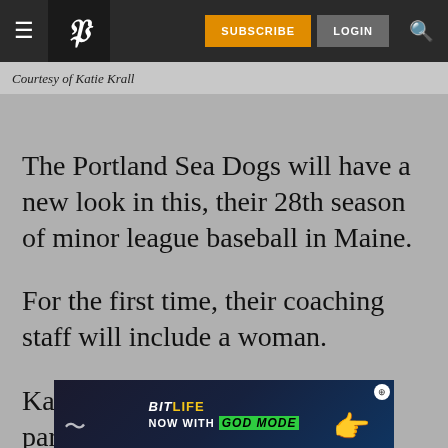≡ P | SUBSCRIBE | LOGIN | 🔍
Courtesy of Katie Krall
The Portland Sea Dogs will have a new look in this, their 28th season of minor league baseball in Maine.
For the first time, their coaching staff will include a woman.
Katie Krall has been hired by the parent Boston
[Figure (other): Advertisement banner: BitLife Now with God Mode game ad with hand pointing graphic]